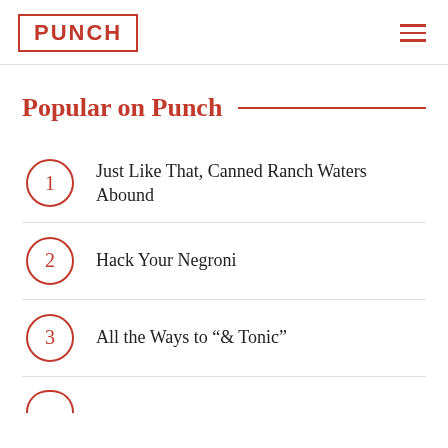PUNCH
Popular on Punch
Just Like That, Canned Ranch Waters Abound
Hack Your Negroni
All the Ways to “& Tonic”
4